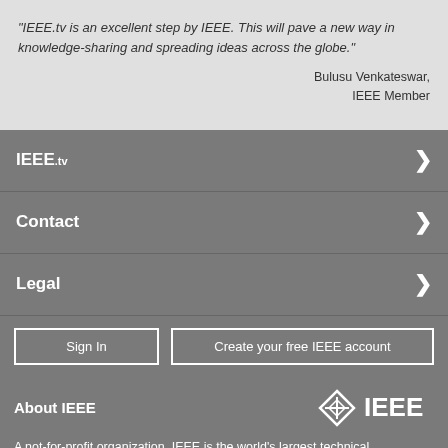"IEEE.tv is an excellent step by IEEE. This will pave a new way in knowledge-sharing and spreading ideas across the globe."
Bulusu Venkateswar, IEEE Member
IEEE.tv
Contact
Legal
Sign In
Create your free IEEE account
About IEEE
[Figure (logo): IEEE diamond logo with IEEE wordmark]
A not-for-profit organization, IEEE is the world's largest technical professional organization dedicated to advancing technology for the benefit of humanity.